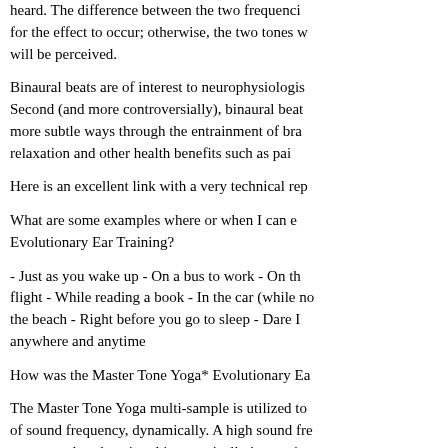heard. The difference between the two frequenci... for the effect to occur; otherwise, the two tones w... will be perceived.
Binaural beats are of interest to neurophysiologis... Second (and more controversially), binaural beat... more subtle ways through the entrainment of bra... relaxation and other health benefits such as pai...
Here is an excellent link with a very technical rep...
What are some examples where or when I can e... Evolutionary Ear Training?
- Just as you wake up - On a bus to work - On th... flight - While reading a book - In the car (while no... the beach - Right before you go to sleep - Dare I... anywhere and anytime
How was the Master Tone Yoga* Evolutionary Ea...
The Master Tone Yoga multi-sample is utilized to... of sound frequency, dynamically. A high sound fre... upper reaches, keeping things sonically interestin... upper middle frequency range. A beautiful grand... to low range frequencies. The binaural beat tech... through a beat frequency range. A useful tool for... highly creative relaxed and alert state, while a hig...